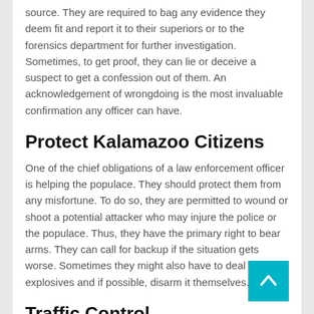source. They are required to bag any evidence they deem fit and report it to their superiors or to the forensics department for further investigation. Sometimes, to get proof, they can lie or deceive a suspect to get a confession out of them. An acknowledgement of wrongdoing is the most invaluable confirmation any officer can have.
Protect Kalamazoo Citizens
One of the chief obligations of a law enforcement officer is helping the populace. They should protect them from any misfortune. To do so, they are permitted to wound or shoot a potential attacker who may injure the police or the populace. Thus, they have the primary right to bear arms. They can call for backup if the situation gets worse. Sometimes they might also have to deal with explosives and if possible, disarm it themselves.
Traffic Control
A few officers are obligated to modulate the stream of traffic in the event that traffic lights stop operating. They are